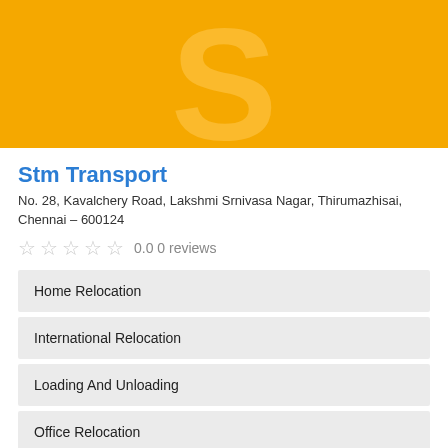[Figure (logo): Yellow/gold background banner with large semi-transparent letter S in the center, serving as the company logo for Stm Transport]
Stm Transport
No. 28, Kavalchery Road, Lakshmi Srnivasa Nagar, Thirumazhisai, Chennai – 600124
0.0 0 reviews
Home Relocation
International Relocation
Loading And Unloading
Office Relocation
Packing And Unpacking